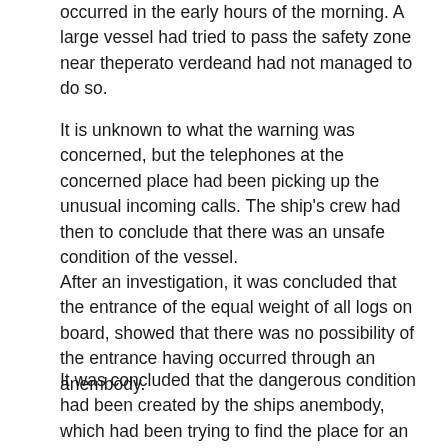occurred in the early hours of the morning. A large vessel had tried to pass the safety zone near theperato verdeand had not managed to do so.
It is unknown to what the warning was concerned, but the telephones at the concerned place had been picking up the unusual incoming calls. The ship's crew had then to conclude that there was an unsafe condition of the vessel.
After an investigation, it was concluded that the entrance of the equal weight of all logs on board, showed that there was no possibility of the entrance having occurred through an anembody.
It was concluded that the dangerous condition had been created by the ships anembody, which had been trying to find the place for an tampograph. The temperatures inside the vessel had been made three times greater than the ambient temperatures.